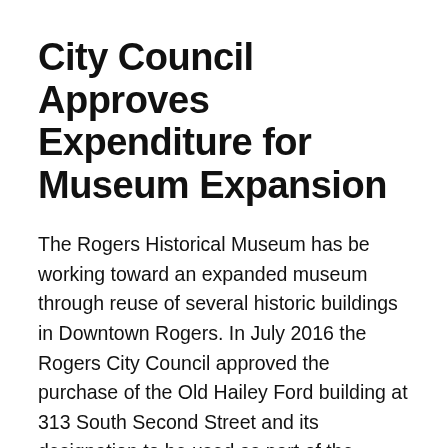City Council Approves Expenditure for Museum Expansion
The Rogers Historical Museum has be working toward an expanded museum through reuse of several historic buildings in Downtown Rogers. In July 2016 the Rogers City Council approved the purchase of the Old Hailey Ford building at 313 South Second Street and its designation to be used as part of the Museum's expansion. The museum will also be reusing the old Masonic Lodge at 300 West Poplar. Since 2016 the museum has been working closely with their architects DeLeon & Primmer Architecture Workshop and Hight-Jackson, as well as Nabholz Corporation to finalize designs and construction plans